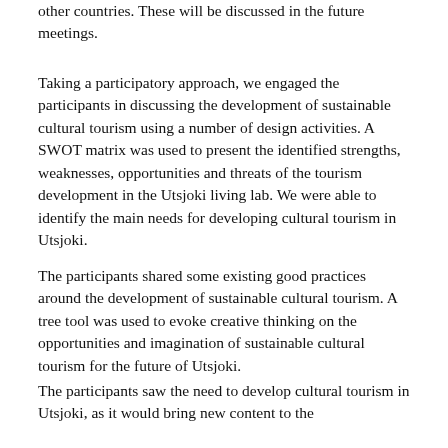other countries. These will be discussed in the future meetings.
Taking a participatory approach, we engaged the participants in discussing the development of sustainable cultural tourism using a number of design activities. A SWOT matrix was used to present the identified strengths, weaknesses, opportunities and threats of the tourism development in the Utsjoki living lab. We were able to identify the main needs for developing cultural tourism in Utsjoki.
The participants shared some existing good practices around the development of sustainable cultural tourism. A tree tool was used to evoke creative thinking on the opportunities and imagination of sustainable cultural tourism for the future of Utsjoki.
The participants saw the need to develop cultural tourism in Utsjoki, as it would bring new content to the